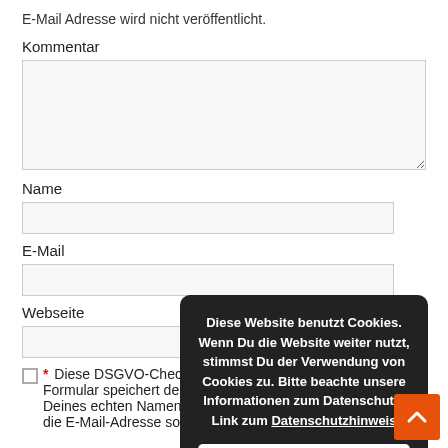E-Mail Adresse wird nicht veröffentlicht.
Kommentar
Name
E-Mail
Webseite
* Diese DSGVO-Checkbox ist ein Pflichtfeld. Dieses Formular speichert den Vor- und Nachnamen, kannst anstelle Deines echten Namens gerne ein Pseudonym verwenden!), die E-Mail-Adresse sowie den
[Figure (screenshot): Cookie consent overlay with dark background showing text: 'Diese Website benutzt Cookies. Wenn Du die Website weiter nutzt, stimmst Du der Verwendung von Cookies zu. Bitte beachte unsere Informationen zum Datenschutz! Link zum Datenschutzhinweis' and an Akzeptieren (Accept) button]
[Figure (other): Orange back-to-top arrow button in bottom right corner]